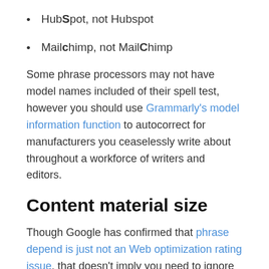HubSpot, not Hubspot
Mailchimp, not MailChimp
Some phrase processors may not have model names included of their spell test, however you should use Grammarly's model information function to autocorrect for manufacturers you ceaselessly write about throughout a workforce of writers and editors.
Content material size
Though Google has confirmed that phrase depend is just not an Web optimization rating issue, that doesn't imply you need to ignore it.
Google does prioritize complete solutions to go looking phrases, so long form content material might carry out